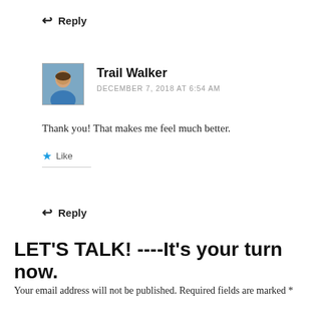↩ Reply
[Figure (photo): Avatar photo of Trail Walker, a person in a blue shirt outdoors]
Trail Walker
DECEMBER 7, 2018 AT 6:54 AM
Thank you! That makes me feel much better.
★ Like
↩ Reply
LET'S TALK! ----It's your turn now.
Your email address will not be published. Required fields are marked *